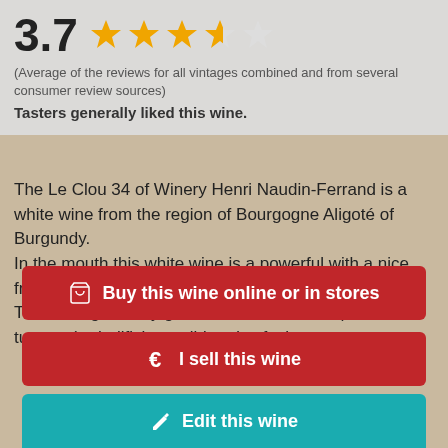3.7 ★★★★☆
(Average of the reviews for all vintages combined and from several consumer review sources)
Tasters generally liked this wine.
The Le Clou 34 of Winery Henri Naudin-Ferrand is a white wine from the region of Bourgogne Aligoté of Burgundy. In the mouth this white wine is a powerful with a nice freshness. This wine generally goes well with rich fish (salmon, tuna etc), shellfish or mild and soft cheese.
🛒  Buy this wine online or in stores
€  I sell this wine
✏  Edit this wine